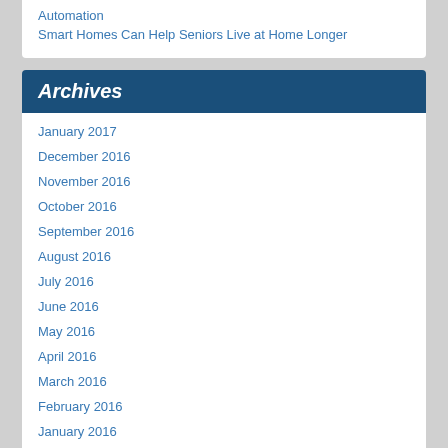Automation
Smart Homes Can Help Seniors Live at Home Longer
Archives
January 2017
December 2016
November 2016
October 2016
September 2016
August 2016
July 2016
June 2016
May 2016
April 2016
March 2016
February 2016
January 2016